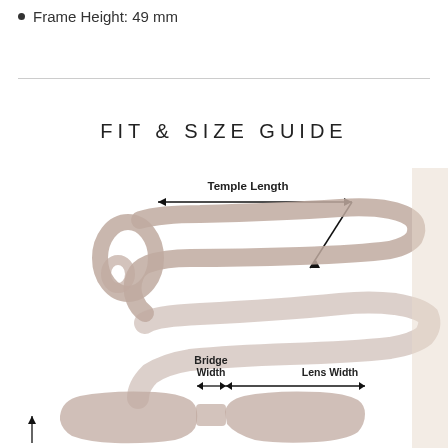Frame Height: 49 mm
FIT & SIZE GUIDE
[Figure (illustration): Eyeglasses fit and size guide diagram showing: (1) side view of glasses with a double-headed arrow labeled 'Temple Length' spanning from the hinge to the tip of the temple arm; (2) front partial view showing 'Bridge Width' with a double-headed arrow between the lenses, and 'Lens Width' with a double-headed arrow across one lens. A small upward arrow indicates Frame Height at left edge.]